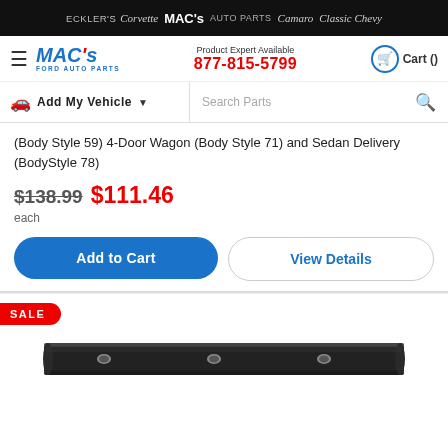ECKLER'S Corvette MAC's AUTO PARTS Camaro Classic Chevy
[Figure (logo): MAC's Ford Auto Parts logo with blue italic text and red apostrophe]
Product Expert Available 877-815-5799
Cart ()
Add My Vehicle
Search Parts
(Body Style 59) 4-Door Wagon (Body Style 71) and Sedan Delivery (BodyStyle 78)
$138.99 $111.46 each
Add to Cart
View Details
SALE
[Figure (photo): Black rocker panel or door sill molding strip with mounting holes, photographed against white background]